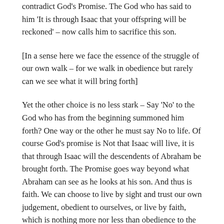contradict God's Promise. The God who has said to him 'It is through Isaac that your offspring will be reckoned' – now calls him to sacrifice this son.
[In a sense here we face the essence of the struggle of our own walk – for we walk in obedience but rarely can we see what it will bring forth]
Yet the other choice is no less stark – Say 'No' to the God who has from the beginning summoned him forth? One way or the other he must say No to life. Of course God's promise is Not that Isaac will live, it is that through Isaac will the descendents of Abraham be brought forth. The Promise goes way beyond what Abraham can see as he looks at his son. And thus is faith. We can choose to live by sight and trust our own judgement, obedient to ourselves, or live by faith, which is nothing more nor less than obedience to the one who has Promised to bring forth life through our obedience.
It is in darkness that faith comes Alive. When all we have to hold onto is